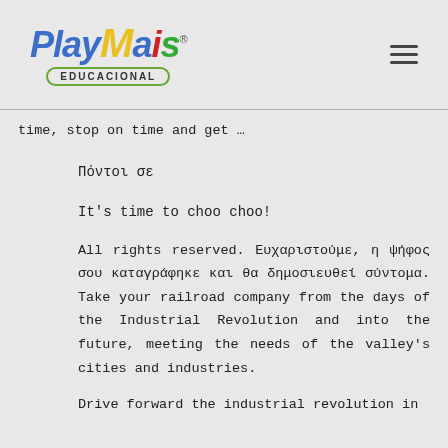PlayMais Educacional
time, stop on time and get …
Πόντοι σε
It's time to choo choo!
All rights reserved. Ευχαριστούμε, η ψήφος σου καταγράφηκε και θα δημοσιευθεί σύντομα. Take your railroad company from the days of the Industrial Revolution and into the future, meeting the needs of the valley's cities and industries.
Drive forward the industrial revolution in